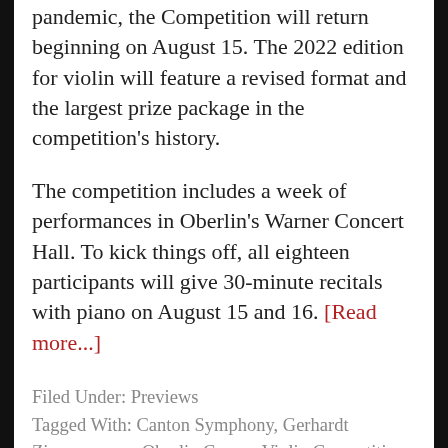After a two-year hiatus due to the pandemic, the Competition will return beginning on August 15. The 2022 edition for violin will feature a revised format and the largest prize package in the competition's history.
The competition includes a week of performances in Oberlin's Warner Concert Hall. To kick things off, all eighteen participants will give 30-minute recitals with piano on August 15 and 16. [Read more...]
Filed Under: Previews
Tagged With: Canton Symphony, Gerhardt Zimmermann, Oberlin Cooper Violin Competition, Sibbi Bernhardsson